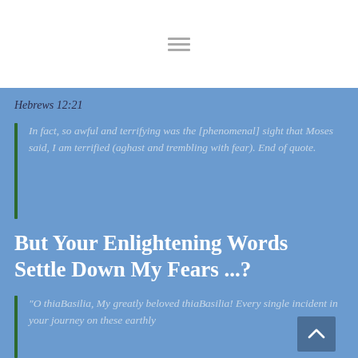[Figure (other): Hamburger/menu icon with three horizontal lines]
Hebrews 12:21
In fact, so awful and terrifying was the [phenomenal] sight that Moses said, I am terrified (aghast and trembling with fear). End of quote.
But Your Enlightening Words Settle Down My Fears ...?
“O thiaBasilia, My greatly beloved thiaBasilia! Every single incident in your journey on these earthly